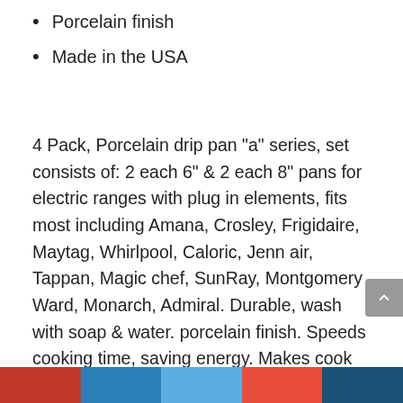Porcelain finish
Made in the USA
4 Pack, Porcelain drip pan “a” series, set consists of: 2 each 6” & 2 each 8” pans for electric ranges with plug in elements, fits most including Amana, Crosley, Frigidaire, Maytag, Whirlpool, Caloric, Jenn air, Tappan, Magic chef, SunRay, Montgomery Ward, Monarch, Admiral. Durable, wash with soap & water. porcelain finish. Speeds cooking time, saving energy. Makes cook top look new again. Made in the USA. Manufacturers’ part numbers are solely for identification. All materials supplied by us are our replacements for manufacturers’ parts. All product and company names are